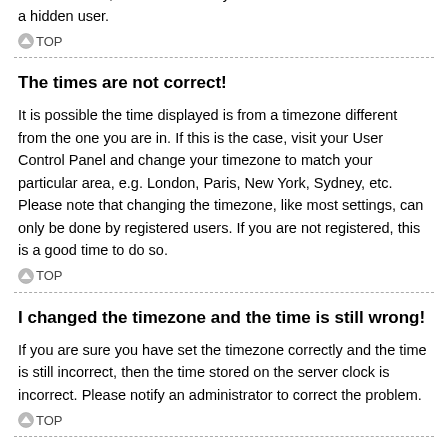status. Enable this option and you will only appear to the administrators, moderators and yourself. You will be counted as a hidden user.
TOP
The times are not correct!
It is possible the time displayed is from a timezone different from the one you are in. If this is the case, visit your User Control Panel and change your timezone to match your particular area, e.g. London, Paris, New York, Sydney, etc. Please note that changing the timezone, like most settings, can only be done by registered users. If you are not registered, this is a good time to do so.
TOP
I changed the timezone and the time is still wrong!
If you are sure you have set the timezone correctly and the time is still incorrect, then the time stored on the server clock is incorrect. Please notify an administrator to correct the problem.
TOP
My language is not in the list!